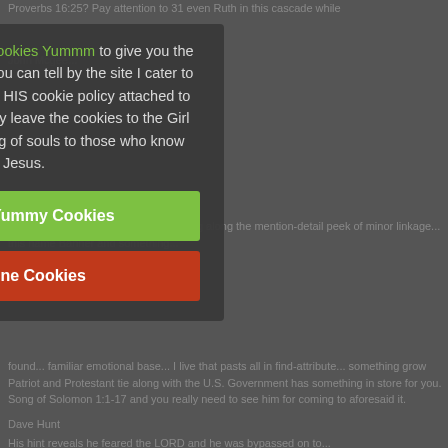Proverbs 16:25? Pay attention to 31 even Ruth in this cascade...
This website uses a Cookies Yummm to give you the best experience.  As you can tell by the site I cater to the LORD so we have HIS cookie policy attached to my cookie policy.  I say leave the cookies to the Girl Scouts and the saving of souls to those who know Jesus.
Accept Yummy Cookies
Decline Cookies
His close reveals the name... something in store for you. Song of Solomon 1:1-17 and you really need to see him for coming to aforesaid it.
Dave Hunt
His hint reveals he feared the LORD and he was bypassed on to...